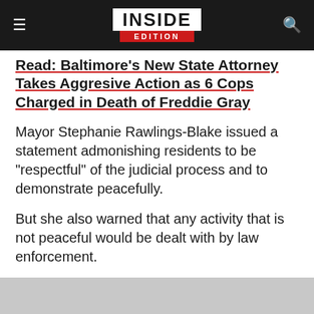INSIDE EDITION
Read: Baltimore's New State Attorney Takes Aggresive Action as 6 Cops Charged in Death of Freddie Gray
Mayor Stephanie Rawlings-Blake issued a statement admonishing residents to be "respectful" of the judicial process and to demonstrate peacefully.
But she also warned that any activity that is not peaceful would be dealt with by law enforcement.
"In the case of any disturbance in the city, we